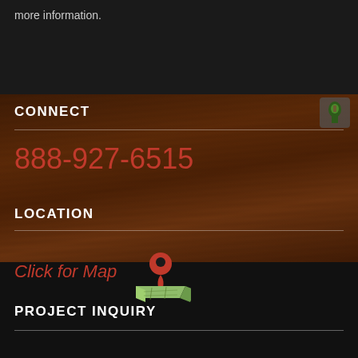more information.
CONNECT
888-927-6515
LOCATION
Click for Map
[Figure (illustration): Red map pin / location marker icon above a folded map graphic]
PROJECT INQUIRY